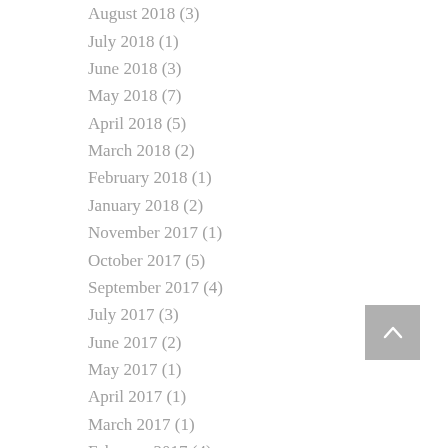August 2018 (3)
July 2018 (1)
June 2018 (3)
May 2018 (7)
April 2018 (5)
March 2018 (2)
February 2018 (1)
January 2018 (2)
November 2017 (1)
October 2017 (5)
September 2017 (4)
July 2017 (3)
June 2017 (2)
May 2017 (1)
April 2017 (1)
March 2017 (1)
February 2017 (4)
January 2017 (2)
December 2016 (2)
November 2016 (1)